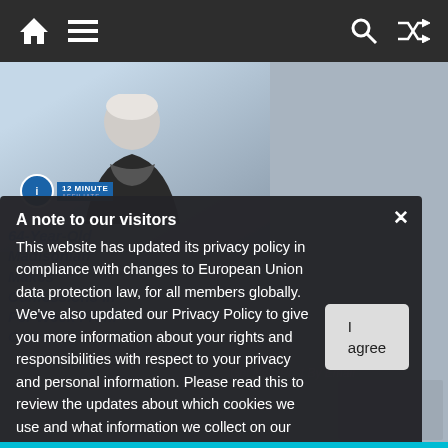Navigation bar with home, menu, search, and shuffle icons
[Figure (photo): Photo of an older white-haired woman with glasses, partially visible behind a privacy policy modal overlay. A '12 Minute' logo appears in the upper left of the photo area.]
A note to our visitors
This website has updated its privacy policy in compliance with changes to European Union data protection law, for all members globally. We've also updated our Privacy Policy to give you more information about your rights and responsibilities with respect to your privacy and personal information. Please read this to review the updates about which cookies we use and what information we collect on our site. By continuing to use this site, you are agreeing to our updated privacy policy.